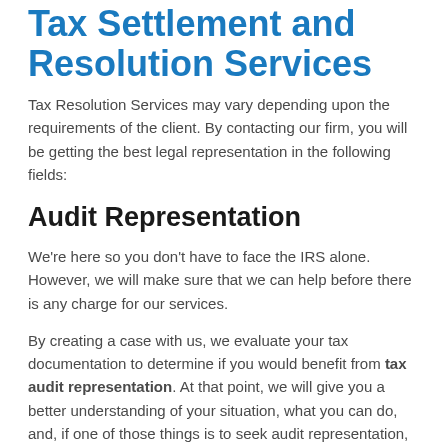Tax Settlement and Resolution Services
Tax Resolution Services may vary depending upon the requirements of the client. By contacting our firm, you will be getting the best legal representation in the following fields:
Audit Representation
We're here so you don't have to face the IRS alone. However, we will make sure that we can help before there is any charge for our services.
By creating a case with us, we evaluate your tax documentation to determine if you would benefit from tax audit representation. At that point, we will give you a better understanding of your situation, what you can do, and, if one of those things is to seek audit representation, we present you with a flat fee for our services. All of this is